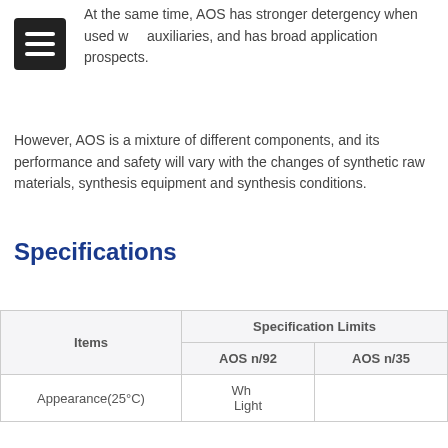At the same time, AOS has stronger detergency when used with auxiliaries, and has broad application prospects.
However, AOS is a mixture of different components, and its performance and safety will vary with the changes of synthetic raw materials, synthesis equipment and synthesis conditions.
Specifications
| Items | Specification Limits / AOS n/92 | Specification Limits / AOS n/35 |
| --- | --- | --- |
| Appearance(25°C) | White... Light... | ...t |